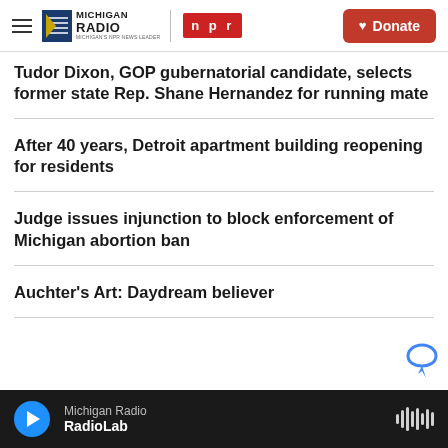Michigan Radio NPR — Donate
Tudor Dixon, GOP gubernatorial candidate, selects former state Rep. Shane Hernandez for running mate
After 40 years, Detroit apartment building reopening for residents
Judge issues injunction to block enforcement of Michigan abortion ban
Auchter's Art: Daydream believer
Michigan Radio — RadioLab